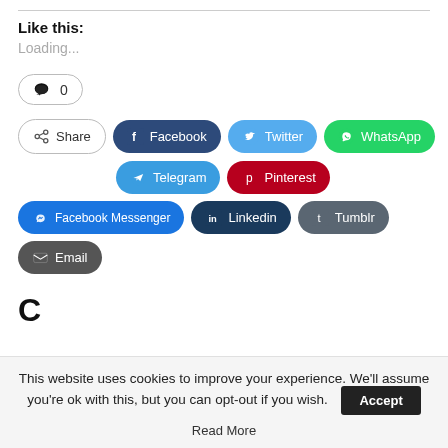Like this:
Loading...
💬 0
Share  Facebook  Twitter  WhatsApp  Telegram  Pinterest  Facebook Messenger  Linkedin  Tumblr  Email
This website uses cookies to improve your experience. We'll assume you're ok with this, but you can opt-out if you wish. Accept
Read More